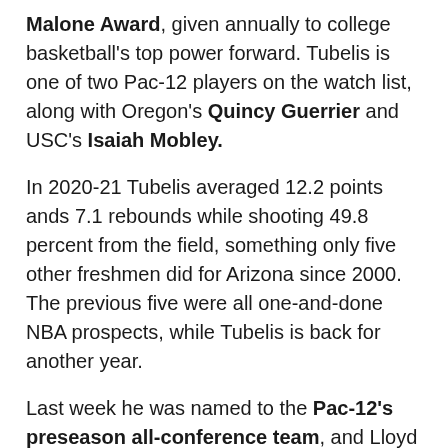Malone Award, given annually to college basketball's top power forward. Tubelis is one of two Pac-12 players on the watch list, along with Oregon's Quincy Guerrier and USC's Isaiah Mobley.
In 2020-21 Tubelis averaged 12.2 points ands 7.1 rebounds while shooting 49.8 percent from the field, something only five other freshmen did for Arizona since 2000. The previous five were all one-and-done NBA prospects, while Tubelis is back for another year.
Last week he was named to the Pac-12's preseason all-conference team, and Lloyd has said numerous times since training camp began he expects Tubelis to be dominant this year.
“I’ve been talking to him about dominating the paint, running the floor, rebounding with two hands,” Lloyd